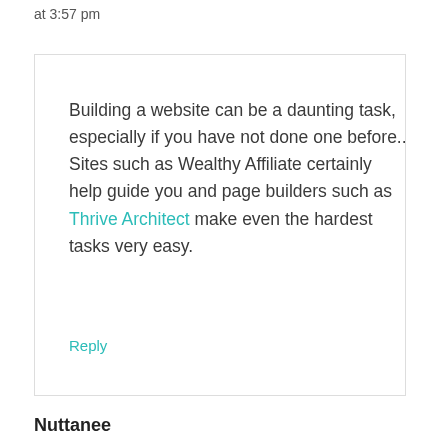at 3:57 pm
Building a website can be a daunting task, especially if you have not done one before.. Sites such as Wealthy Affiliate certainly help guide you and page builders such as Thrive Architect make even the hardest tasks very easy.
Reply
Nuttanee